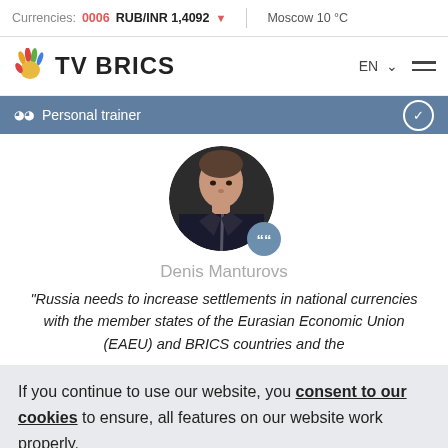Currencies: 0006  RUB/INR 1,4092 ↓  Moscow 10 °C
[Figure (logo): TV BRICS logo with colorful hand icon, EN language selector and hamburger menu]
(•) Personal trainer
[Figure (photo): Circular portrait photo of Denis Manturovs with a blue quote badge overlay]
Denis Manturovs
"Russia needs to increase settlements in national currencies with the member states of the Eurasian Economic Union (EAEU) and BRICS countries and the
If you continue to use our website, you consent to our cookies to ensure, all features on our website work properly.
ACCEPT AND CLOSE